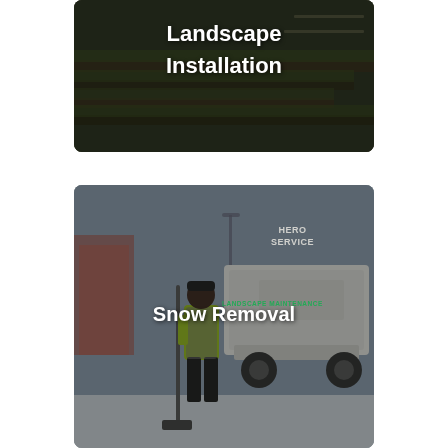[Figure (photo): Photo of a landscape installation showing terraced stone retaining walls with grass, overlaid with white bold text reading 'Landscape Installation']
[Figure (photo): Photo of a snow removal worker in a yellow vest holding a snow shovel, standing beside a white pickup truck labeled 'HERO SERVICE' and 'LANDSCAPE MAINTENANCE', overlaid with white bold text reading 'Snow Removal']